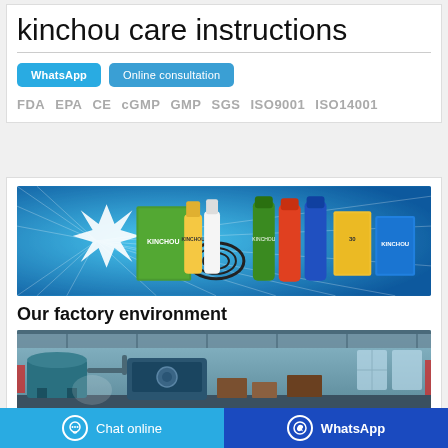kinchou care instructions
WhatsApp   Online consultation
FDA  EPA  CE  cGMP  GMP  SGS  ISO9001  ISO14001
[Figure (photo): Product lineup banner on blue background showing various insect repellent sprays, coils, and boxes]
Our factory environment
[Figure (photo): Interior photo of manufacturing factory floor with industrial equipment]
Chat online   WhatsApp